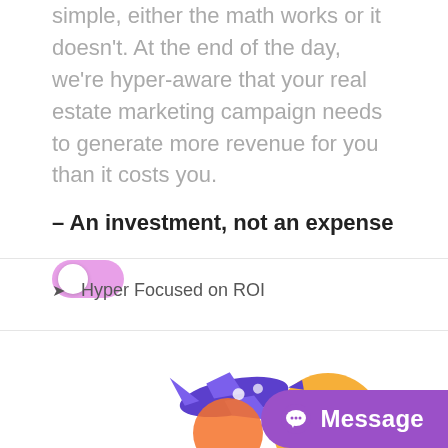simple, either the math works or it doesn't. At the end of the day, we're hyper-aware that your real estate marketing campaign needs to generate more revenue for you than it costs you.
– An investment, not an expense
[Figure (other): A pink/purple toggle switch in the ON position]
Hyper Focused on ROI
[Figure (illustration): Colorful illustration with an airplane and circular shapes at the bottom of the page, partially cut off]
[Figure (other): Purple 'Message' button with chat bubble icon in bottom right corner]